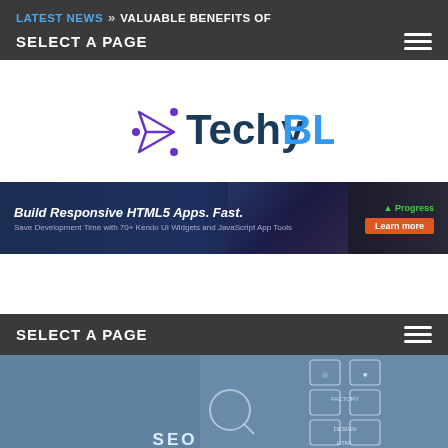LATEST NEWS » VALUABLE BENEFITS OF
SELECT A PAGE
[Figure (logo): TechyBLOG logo with a purple/blue arrow-left geometric icon and text 'Techy' in dark teal and 'BLOG' in blue]
[Figure (other): Advertisement banner: Build Responsive HTML5 Apps. Fast. Save Development Time with 70+ Kendo UI Widgets and JavaScript App Tools – Progress – Learn more]
SELECT A PAGE
[Figure (photo): Photo of a person pointing at SEO and technology icons including search, network, design, HTML labels on a blue gradient background]